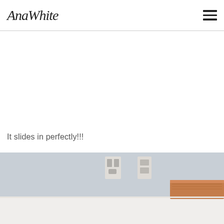AnaWhite
It slides in perfectly!!!
[Figure (photo): Photo showing a wooden board or piece of wood being slid into a white surface or shelf, with a light blue/grey wall and an electrical outlet visible in the background.]